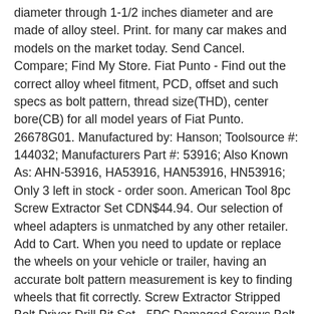diameter through 1-1/2 inches diameter and are made of alloy steel. Print. for many car makes and models on the market today. Send Cancel. Compare; Find My Store. Fiat Punto - Find out the correct alloy wheel fitment, PCD, offset and such specs as bolt pattern, thread size(THD), center bore(CB) for all model years of Fiat Punto. 26678G01. Manufactured by: Hanson; Toolsource #: 144032; Manufacturers Part #: 53916; Also Known As: AHN-53916, HA53916, HAN53916, HN53916; Only 3 left in stock - order soon. American Tool 8pc Screw Extractor Set CDN$44.94. Our selection of wheel adapters is unmatched by any other retailer. Add to Cart. When you need to update or replace the wheels on your vehicle or trailer, having an accurate bolt pattern measurement is key to finding wheels that fit correctly. Screw Extractor Stripped Bolt Driver Drill Bit Set - 5PC Damaged Screws Bolt Extractor Easy Out Broken Bolt Remover Made from H.S.S 4341 Hardness 63-65 HRC (Gold) 5.0 out of 5 stars 2. $22.60. Get it by Tomorrow, Jan 22.